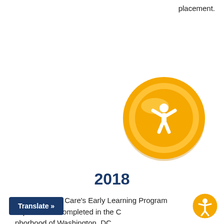placement.
[Figure (illustration): Golden/yellow circular badge icon with a white child figure (arms raised) in the center, on a white background. The badge has a glossy 3D appearance.]
2018
Board of Child Care's Early Learning Program expansion is completed in the C neighborhood of Washington, DC